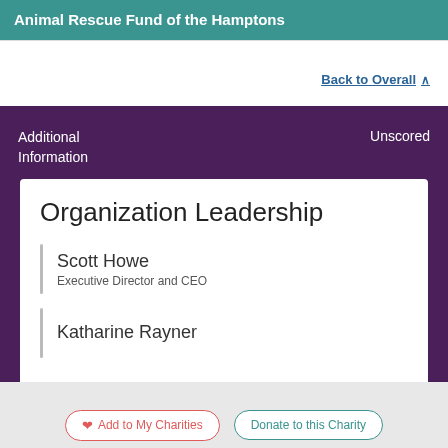Animal Rescue Fund of the Hamptons
Back to Overall
Additional Information
Unscored
Organization Leadership
Scott Howe
Executive Director and CEO
Katharine Rayner
Add to My Charities
Donate to this Charity